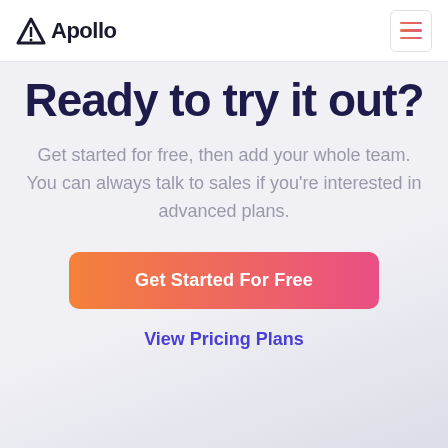Apollo
Ready to try it out?
Get started for free, then add your whole team. You can always talk to sales if you're interested in advanced plans.
Get Started For Free
View Pricing Plans